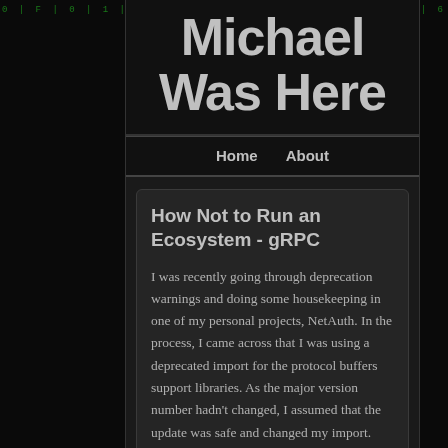Michael Was Here
Home   About
How Not to Run an Ecosystem - gRPC
I was recently going through deprecation warnings and doing some housekeeping in one of my personal projects, NetAuth. In the process, I came across that I was using a deprecated import for the protocol buffers support libraries. As the major version number hadn't changed, I assumed that the update was safe and changed my import.